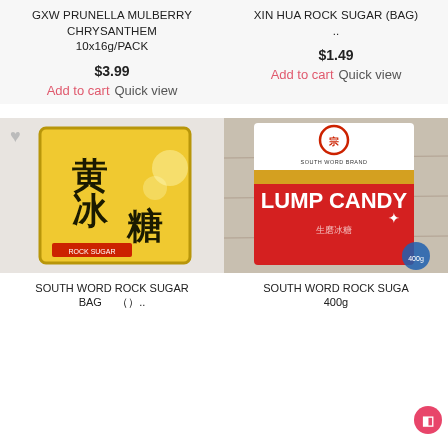GXW PRUNELLA MULBERRY CHRYSANTHEM 10x16g/PACK
XIN HUA ROCK SUGAR (BAG) ..
$3.99
$1.49
Add to cart  Quick view
Add to cart  Quick view
[Figure (photo): Yellow package of rock sugar with Chinese characters 黄冰糖]
[Figure (photo): Red bag of South Word Brand Lump Candy rock sugar 400g]
SOUTH WORD ROCK SUGAR BAG （）..
SOUTH WORD ROCK SUGA 400g